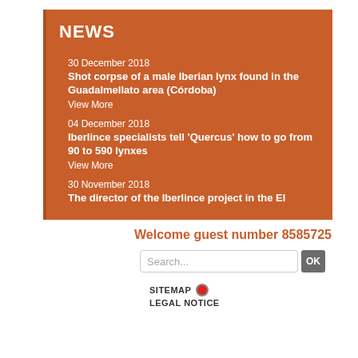NEWS
30 December 2018
Shot corpse of a male Iberian lynx found in the Guadalmellato area (Córdoba)
View More
04 December 2018
Iberlince specialists tell 'Quercus' how to go from 90 to 590 lynxes
View More
30 November 2018
The director of the Iberlince project in the El
Welcome guest number 8585725
Search...
SITEMAP
LEGAL NOTICE